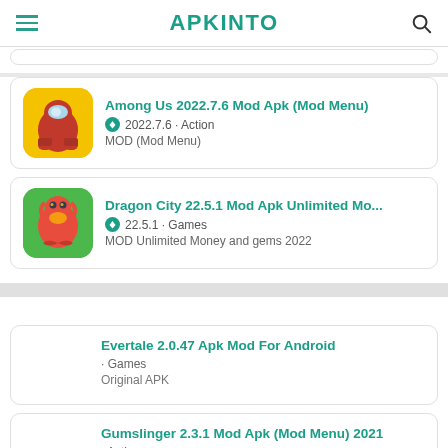APKINTO
Among Us 2022.7.6 Mod Apk (Mod Menu) | 2022.7.6 · Action | MOD (Mod Menu)
Dragon City 22.5.1 Mod Apk Unlimited Mo... | 22.5.1 · Games | MOD Unlimited Money and gems 2022
Evertale 2.0.47 Apk Mod For Android | · Games | Original APK
Gumslinger 2.3.1 Mod Apk (Mod Menu) 2021 | · Action